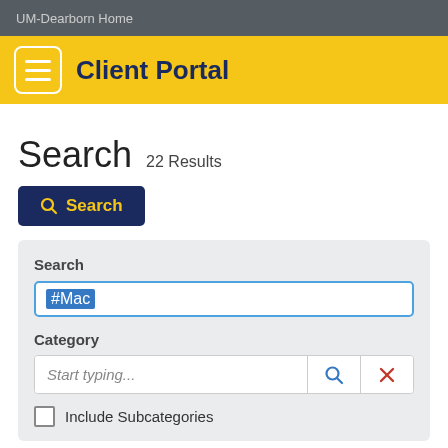UM-Dearborn Home
Client Portal
Search   22 Results
Search (button)
Search: #Mac
Category: Start typing...
Include Subcategories
Installing macOS updates: On